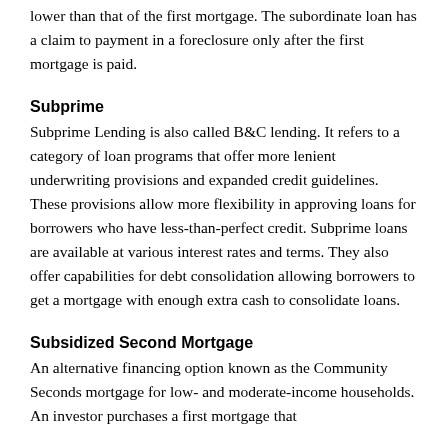lower than that of the first mortgage. The subordinate loan has a claim to payment in a foreclosure only after the first mortgage is paid.
Subprime
Subprime Lending is also called B&C lending. It refers to a category of loan programs that offer more lenient underwriting provisions and expanded credit guidelines. These provisions allow more flexibility in approving loans for borrowers who have less-than-perfect credit. Subprime loans are available at various interest rates and terms. They also offer capabilities for debt consolidation allowing borrowers to get a mortgage with enough extra cash to consolidate loans.
Subsidized Second Mortgage
An alternative financing option known as the Community Seconds mortgage for low- and moderate-income households. An investor purchases a first mortgage that